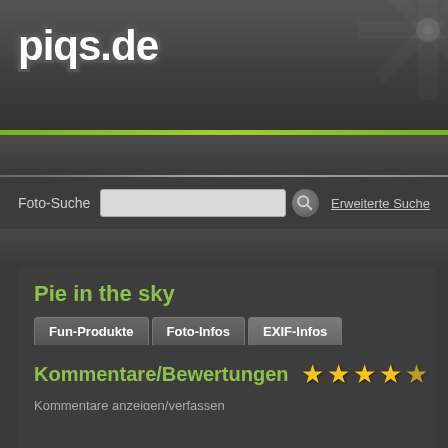piqs.de
Foto-Suche   Erweiterte Suche
Pie in the sky
Fun-Produkte   Foto-Infos   EXIF-Infos
Kommentare/Bewertungen
Kommentare anzeigen/verfassen